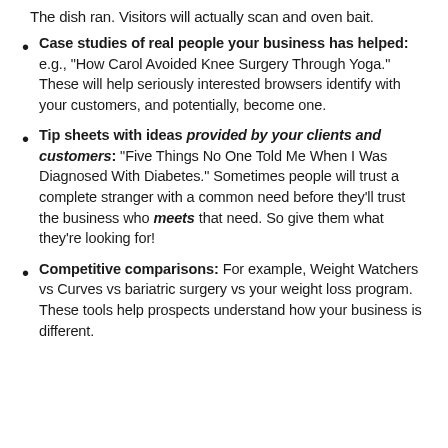The dish ran. Visitors will actually scan and oven bait.
Case studies of real people your business has helped: e.g., “How Carol Avoided Knee Surgery Through Yoga.” These will help seriously interested browsers identify with your customers, and potentially, become one.
Tip sheets with ideas provided by your clients and customers: “Five Things No One Told Me When I Was Diagnosed With Diabetes.” Sometimes people will trust a complete stranger with a common need before they’ll trust the business who meets that need. So give them what they’re looking for!
Competitive comparisons: For example, Weight Watchers vs Curves vs bariatric surgery vs your weight loss program. These tools help prospects understand how your business is different.